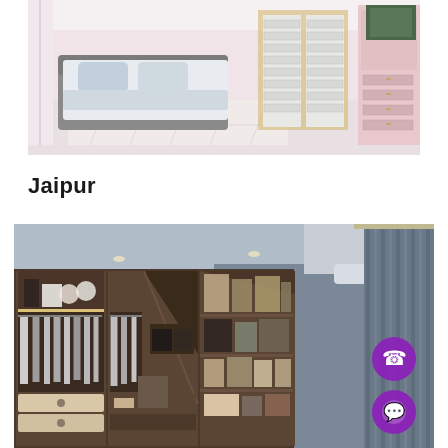[Figure (photo): Interior bedroom photo showing a bed with white/grey bedding on a patterned rug, pink walls, white built-in wardrobes with gold handles, and storage drawers in the background]
Jaipur
[Figure (photo): Interior photo of a walk-in wardrobe fitted under a staircase, showing wooden shelving units, hanging clothes on rails, drawers, recessed lighting, and two purple circular contact buttons (phone and WhatsApp) on the right side with grey curtains visible]